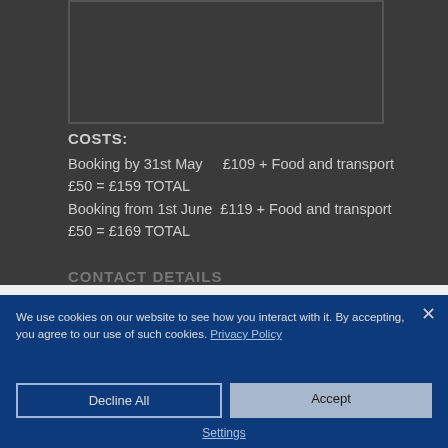[Figure (photo): Dark image placeholder box at top of page]
COSTS:
Booking by 31st May    £109 + Food and transport £50 = £159 TOTAL
Booking from 1st June  £119 + Food and transport £50 = £169 TOTAL
We use cookies on our website to see how you interact with it. By accepting, you agree to our use of such cookies. Privacy Policy
Decline All
Accept
Settings